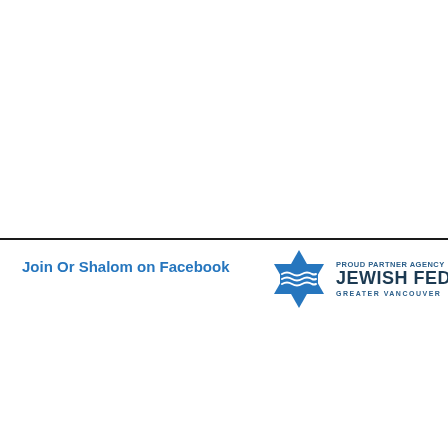Join Or Shalom on Facebook
[Figure (logo): Jewish Federation of Greater Vancouver logo with Star of David containing wave lines, and text 'PROUD PARTNER AGENCY JEWISH FEDERATION GREATER VANCOUVER']